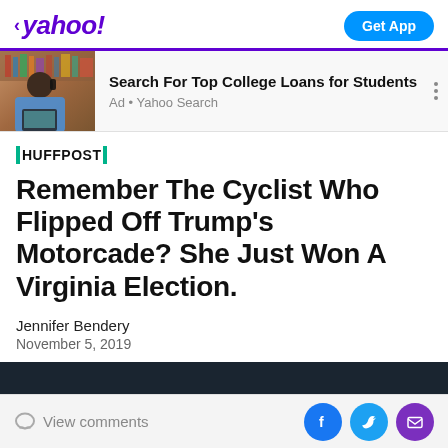< yahoo!  Get App
[Figure (screenshot): Ad banner: photo of a woman on phone at laptop, with text 'Search For Top College Loans for Students' and 'Ad • Yahoo Search']
Search For Top College Loans for Students
Ad • Yahoo Search
HUFFPOST
Remember The Cyclist Who Flipped Off Trump's Motorcade? She Just Won A Virginia Election.
Jennifer Bendery
November 5, 2019
View comments